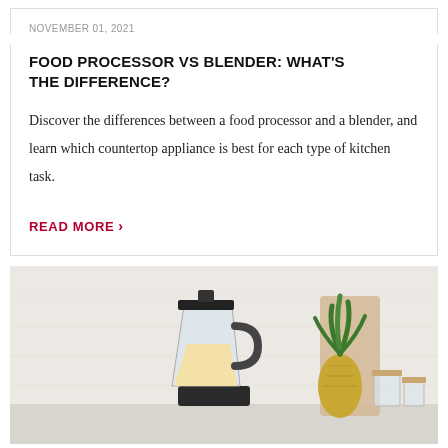NOVEMBER 01, 2021
FOOD PROCESSOR VS BLENDER: WHAT'S THE DIFFERENCE?
Discover the differences between a food processor and a blender, and learn which countertop appliance is best for each type of kitchen task.
READ MORE ›
[Figure (photo): A blender filled with a yellow/cream smoothie on a kitchen countertop, with a pineapple and glass canisters in the background, white herringbone tile wall behind.]